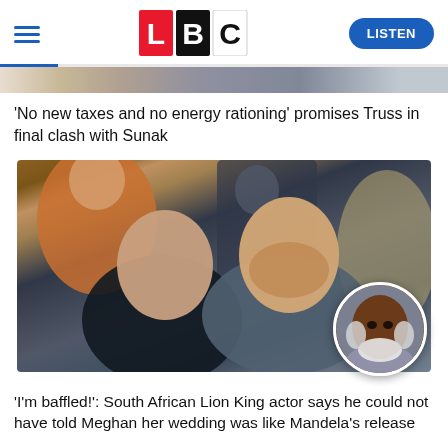LBC — LISTEN
[Figure (photo): Partial top image strip showing blurred background photo]
'No new taxes and no energy rationing' promises Truss in final clash with Sunak
[Figure (photo): Main photo of Meghan Markle and Prince Harry seated at what appears to be an event, with a circular inset photo of a South African elderly Black man with white beard]
'I'm baffled!': South African Lion King actor says he could not have told Meghan her wedding was like Mandela's release